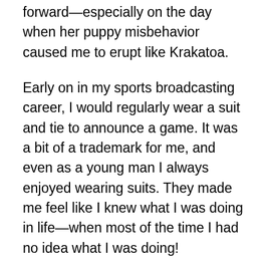forward—especially on the day when her puppy misbehavior caused me to erupt like Krakatoa.
Early on in my sports broadcasting career, I would regularly wear a suit and tie to announce a game. It was a bit of a trademark for me, and even as a young man I always enjoyed wearing suits. They made me feel like I knew what I was doing in life—when most of the time I had no idea what I was doing!
One blustery winter afternoon, I was headed to announce a basketball game and thought a suit was fitting for the occasion. I pulled one particular suit out of my closet, and looked at it with a smile. It was a suit I had just recently